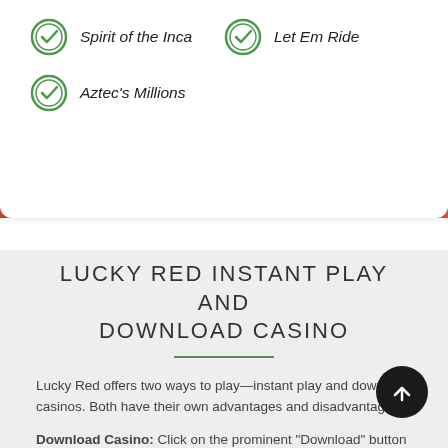Spirit of the Inca
Let Em Ride
Aztec's Millions
LUCKY RED INSTANT PLAY AND DOWNLOAD CASINO
Lucky Red offers two ways to play—instant play and download casinos. Both have their own advantages and disadvantages.
Download Casino: Click on the prominent "Download" button the main menu on top of the casino website to initiate the download procedure. Follow the instructions that appear on your screen to successfully download and install the software client on your